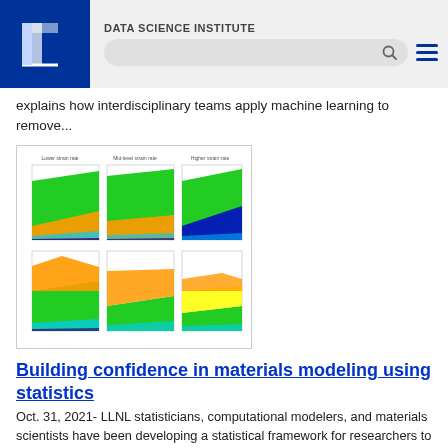DATA SCIENCE INSTITUTE
explains how interdisciplinary teams apply machine learning to remove...
[Figure (area-chart): Six area charts arranged in a 2x3 grid showing materials modeling data at lower, mid-level, and higher strain rates (top row columns) with colored areas (green, orange, blue, cyan) across strain values.]
Building confidence in materials modeling using statistics
Oct. 31, 2021- LLNL statisticians, computational modelers, and materials scientists have been developing a statistical framework for researchers to better assess the relationship between model uncertainties and experimental data. The Livermore-developed statistical framework is intended to assess sources of uncertainty in strength model input,